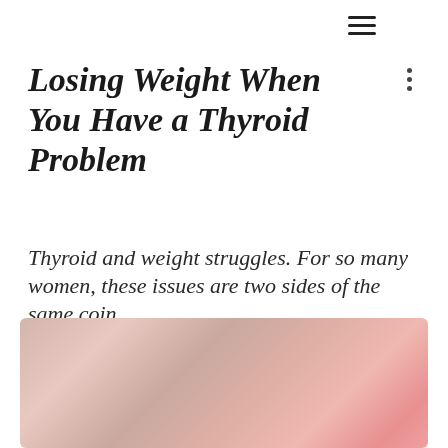≡ ⋮
Losing Weight When You Have a Thyroid Problem
Thyroid and weight struggles. For so many women, these issues are two sides of the same coin.
Even in our niche, specialized natural fertility practice, we hear about this concern on a daily basis.
[Figure (photo): Abstract blurred gradient image with warm pink and beige tones, suggesting a soft medical or wellness visual.]